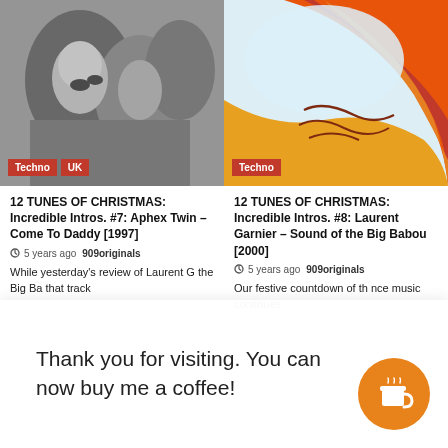[Figure (photo): Black and white photo of people, with red 'Techno' and 'UK' tags at bottom left]
[Figure (illustration): Abstract colorful crayon art with orange and red swirls, 'Techno' tag at bottom left]
12 TUNES OF CHRISTMAS: Incredible Intros. #7: Aphex Twin – Come To Daddy [1997]
12 TUNES OF CHRISTMAS: Incredible Intros. #8: Laurent Garnier – Sound of the Big Babou [2000]
5 years ago  909originals
5 years ago  909originals
While yesterday's review of Laurent G  the Big Ba  that track
Our festive countdown of th  nce music  continues
Thank you for visiting. You can now buy me a coffee!